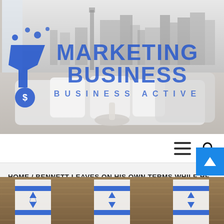[Figure (photo): Header banner showing a black and white skyline mural in the background and an interior room with white sofa, chair, and pillows. Overlaid with 'Marketing Business' logo in blue text with a funnel/dollar sign icon on the left. Subtitle reads 'BUSINESS ACTIVE'.]
MARKETING BUSINESS
BUSINESS ACTIVE
≡    🔍
HOME / BENNETT LEAVES ON HIS OWN TERMS WHILE HE CAN
[Figure (photo): Bottom strip showing partial view of what appears to be Israeli flags with blue Star of David symbols on a wooden surface.]